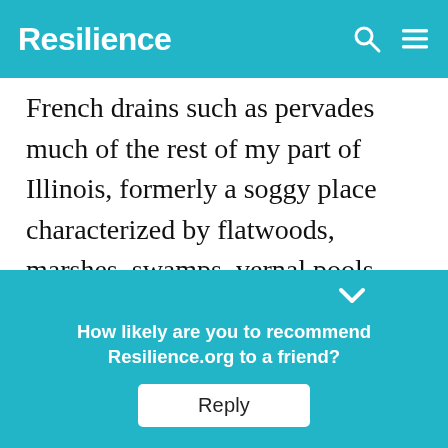Resilience
French drains such as pervades much of the rest of my part of Illinois, formerly a soggy place characterized by flatwoods, marshes, swamps, vernal pools, bottomlands, floodplains, riverine environments, wet prairies, sloughs, bogs, fens and the like, would have made the land worth farming. No one was ever able to “reclaim” it, cutting down the centuries-old sw… …s and comm…
How likely are you to recommend Resilience.org to a friend?
Reply